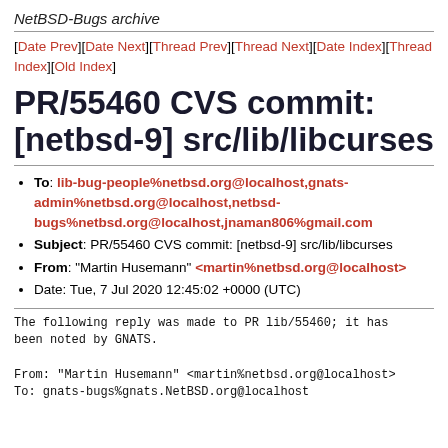NetBSD-Bugs archive
[Date Prev][Date Next][Thread Prev][Thread Next][Date Index][Thread Index][Old Index]
PR/55460 CVS commit: [netbsd-9] src/lib/libcurses
To: lib-bug-people%netbsd.org@localhost,gnats-admin%netbsd.org@localhost,netbsd-bugs%netbsd.org@localhost,jnaman806%gmail.com
Subject: PR/55460 CVS commit: [netbsd-9] src/lib/libcurses
From: "Martin Husemann" <martin%netbsd.org@localhost>
Date: Tue, 7 Jul 2020 12:45:02 +0000 (UTC)
The following reply was made to PR lib/55460; it has been noted by GNATS.

From: "Martin Husemann" <martin%netbsd.org@localhost>
To: gnats-bugs%gnats.NetBSD.org@localhost